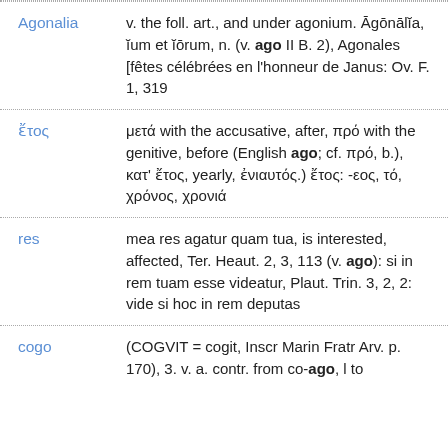Agonalia — v. the foll. art., and under agonium. Āgōnālĭa, ĭum et ĭōrum, n. (v. ago II B. 2), Agonales [fêtes célébrées en l'honneur de Janus: Ov. F. 1, 319
ἔτος — μετά with the accusative, after, πρό with the genitive, before (English ago; cf. πρό, b.), κατ' ἔτος, yearly, ἐνιαυτός.) ἔτος: -εος, τό, χρόνος, χρονιά
res — mea res agatur quam tua, is interested, affected, Ter. Heaut. 2, 3, 113 (v. ago): si in rem tuam esse videatur, Plaut. Trin. 3, 2, 2: vide si hoc in rem deputas
cogo — (COGVIT = cogit, Inscr Marin Fratr Arv. p. 170), 3. v. a. contr. from co-ago, l to